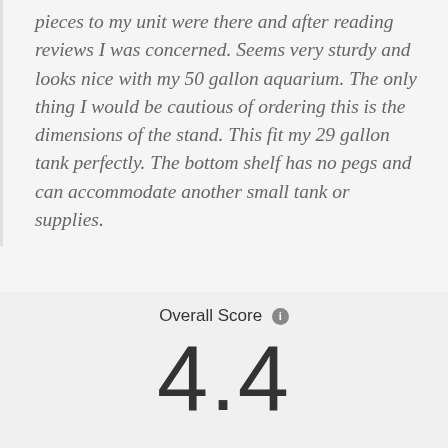pieces to my unit were there and after reading reviews I was concerned. Seems very sturdy and looks nice with my 50 gallon aquarium. The only thing I would be cautious of ordering this is the dimensions of the stand. This fit my 29 gallon tank perfectly. The bottom shelf has no pegs and can accommodate another small tank or supplies.
Overall Score
4.4